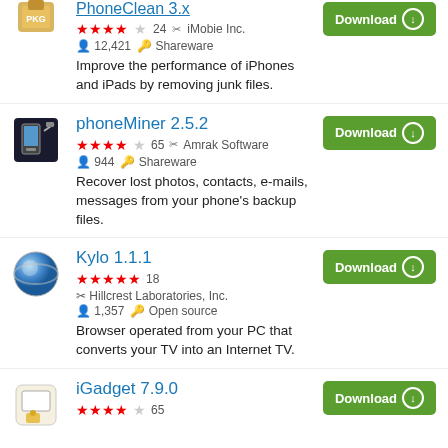PhoneClean 3.x - 4 stars, 24 reviews, iMobie Inc., 12,421 downloads, Shareware. Improve the performance of iPhones and iPads by removing junk files.
phoneMiner 2.5.2 - 4 stars, 65 reviews, Amrak Software, 944 downloads, Shareware. Recover lost photos, contacts, e-mails, messages from your phone's backup files.
Kylo 1.1.1 - 5 stars, 18 reviews, Hillcrest Laboratories, Inc., 1,357 downloads, Open source. Browser operated from your PC that converts your TV into an Internet TV.
iGadget 7.9.0 - 4 stars, 65 reviews. Download available.